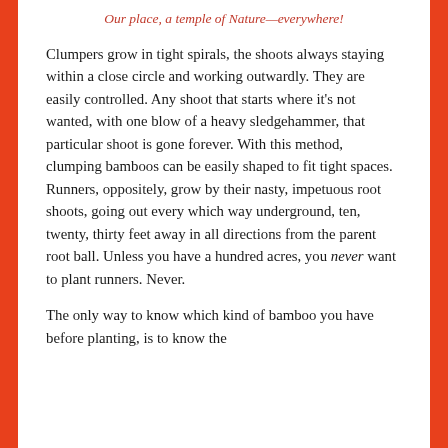Our place, a temple of Nature—everywhere!
Clumpers grow in tight spirals, the shoots always staying within a close circle and working outwardly. They are easily controlled. Any shoot that starts where it's not wanted, with one blow of a heavy sledgehammer, that particular shoot is gone forever. With this method, clumping bamboos can be easily shaped to fit tight spaces. Runners, oppositely, grow by their nasty, impetuous root shoots, going out every which way underground, ten, twenty, thirty feet away in all directions from the parent root ball. Unless you have a hundred acres, you never want to plant runners. Never.
The only way to know which kind of bamboo you have before planting, is to know the